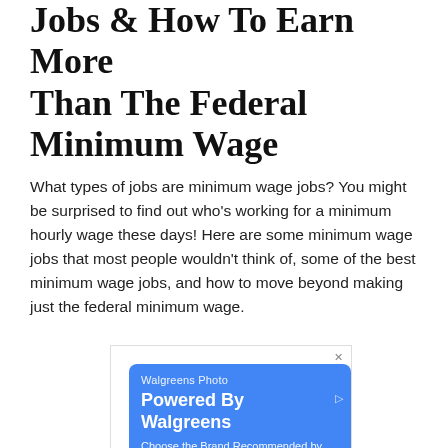Jobs & How To Earn More Than The Federal Minimum Wage
What types of jobs are minimum wage jobs? You might be surprised to find out who's working for a minimum hourly wage these days! Here are some minimum wage jobs that most people wouldn't think of, some of the best minimum wage jobs, and how to move beyond making just the federal minimum wage.
[Figure (other): Advertisement banner for Walgreens Photo — 'Powered By Walgreens. Choose the Brand Recommended by Walgreens Pharmacists']